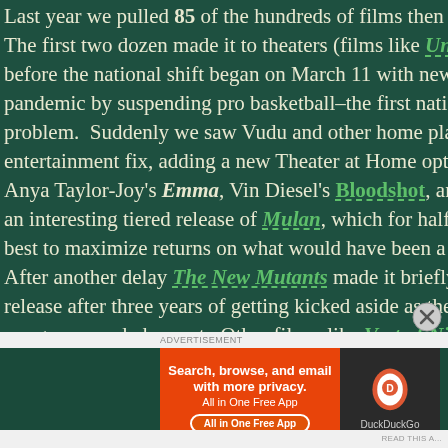Last year we pulled 85 of the hundreds of films then slated for... The first two dozen made it to theaters (films like Underwater, before the national shift began on March 11 with news of the pandemic by suspending pro basketball–the first national awa... problem.  Suddenly we saw Vudu and other home platforms co... entertainment fix, adding a new Theater at Home option, whic... Anya Taylor-Joy's Emma, Vin Diesel's Bloodshot, and the anima... an interesting tiered release of Mulan, which for half the year best to maximize returns on what would have been a key relea... After another delay The New Mutants made it briefly to theate... release after three years of getting kicked aside as the last vest... merger were shaken out.  Other films, like Vast of Night, Extra... Rebecca, Radioactive, and Fantasy Island safely premiered on N... with Chris Hemsworth's Extraction standing out as the clear p... world needed some new entertainment and after what would ...
[Figure (screenshot): DuckDuckGo advertisement banner with orange left panel saying 'Search, browse, and email with more privacy. All in One Free App' and dark right panel showing DuckDuckGo shield logo and text.]